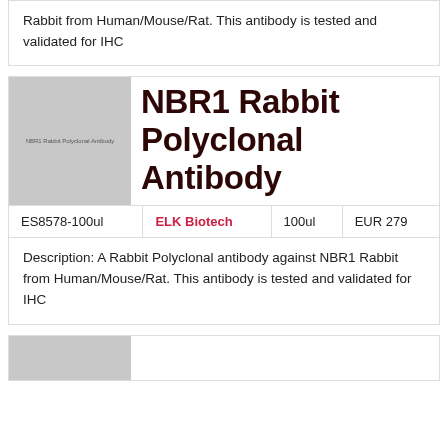Rabbit from Human/Mouse/Rat. This antibody is tested and validated for IHC
[Figure (photo): Product image placeholder for NBR1 Rabbit Polyclonal Antibody]
NBR1 Rabbit Polyclonal Antibody
| ES8578-100ul | ELK Biotech | 100ul | EUR 279 |
| --- | --- | --- | --- |
Description: A Rabbit Polyclonal antibody against NBR1 Rabbit from Human/Mouse/Rat. This antibody is tested and validated for IHC
[Figure (photo): Product image placeholder for next product]